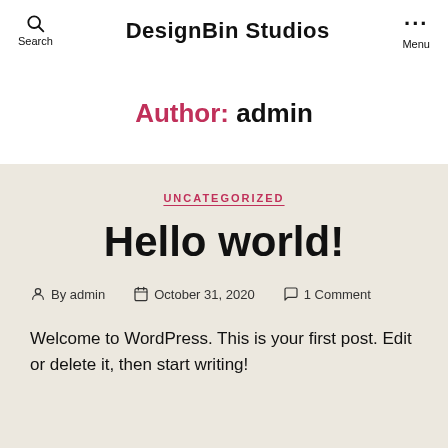Search | DesignBin Studios | Menu
Author: admin
UNCATEGORIZED
Hello world!
By admin   October 31, 2020   1 Comment
Welcome to WordPress. This is your first post. Edit or delete it, then start writing!